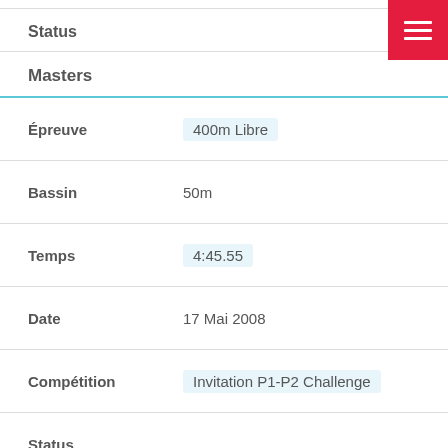Status
Masters
| Field | Value |
| --- | --- |
| Épreuve | 400m Libre |
| Bassin | 50m |
| Temps | 4:45.55 |
| Date | 17 Mai 2008 |
| Compétition | Invitation P1-P2 Challenge |
| Status |  |